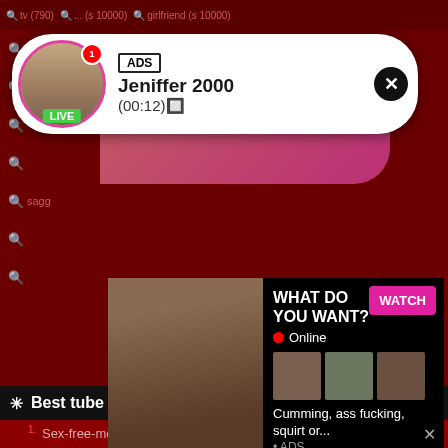tv (790)  ...  (s 10000)  ...  girlfriend (s 10000)
[Figure (screenshot): Live cam notification popup with avatar photo of woman, ADS tag, name Jeniffer 2000, timer (00:12), LIVE badge, close button]
sagg...
[Figure (photo): Adult ad banner with photo on left, WHAT DO YOU WANT? heading, WATCH button, Online indicator, thumbnail images, text: Cumming, ass fucking, squirt or... • ADS]
Best tube sites
1. Sex-free-movies.com
2. Dark categories
3. Grade up tube
4. Trusted vids